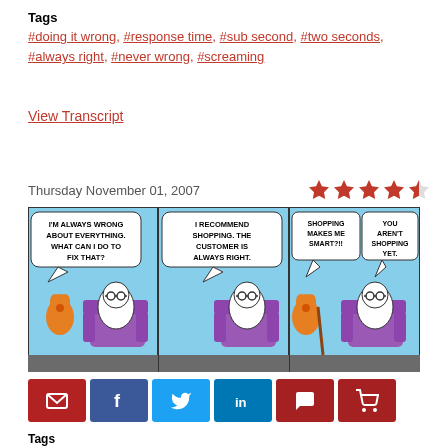Tags
#doing it wrong, #response time, #sub second, #two seconds, #always right, #never wrong, #screaming
View Transcript
Thursday November 01, 2007
[Figure (illustration): Three-panel Dilbert comic strip. Panel 1: dog character says 'I'M ALWAYS WRONG ABOUT EVERYTHING. WHAT CAN I DO TO FIX THAT?' to Dilbert sitting in chair. Panel 2: Dilbert says 'I RECOMMEND SHOPPING. THE CUSTOMER IS ALWAYS RIGHT.' Panel 3: Dog says 'SHOPPING MAKES ME SMART?!!' and Dilbert replies 'YOU AREN'T SHOPPING YET.']
[Figure (infographic): Social sharing buttons: email, facebook, twitter, linkedin, comment, cart]
Tags
#always wrong, #recommend shopping